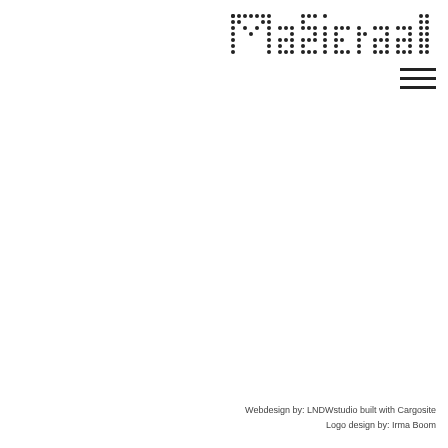[Figure (logo): MaSieraad dot-matrix style logo in black dots on white background, positioned in the upper right area]
[Figure (other): Hamburger menu icon (three horizontal lines) positioned below the logo in the upper right corner]
Webdesign by: LNDWstudio built with Cargosite
Logo design by: Irma Boom